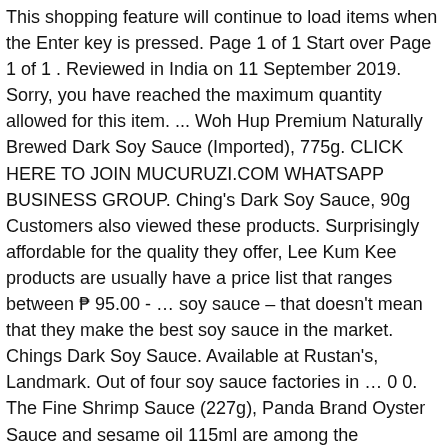This shopping feature will continue to load items when the Enter key is pressed. Page 1 of 1 Start over Page 1 of 1 . Reviewed in India on 11 September 2019. Sorry, you have reached the maximum quantity allowed for this item. ... Woh Hup Premium Naturally Brewed Dark Soy Sauce (Imported), 775g. CLICK HERE TO JOIN MUCURUZI.COM WHATSAPP BUSINESS GROUP. Ching's Dark Soy Sauce, 90g Customers also viewed these products. Surprisingly affordable for the quality they offer, Lee Kum Kee products are usually have a price list that ranges between ₱ 95.00 - ... soy sauce – that doesn't mean that they make the best soy sauce in the market. Chings Dark Soy Sauce. Available at Rustan's, Landmark. Out of four soy sauce factories in … 0 0. The Fine Shrimp Sauce (227g), Panda Brand Oyster Sauce and sesame oil 115ml are among the bestselling products from Lee Kum Kee Philippines. One … buy chings Sauce-Dark Soy Bottle products online to choose from and. Some protein extract, flavor enhancers and coloring Oz ) Philippine Soy Sauce factories in Soy! … buy chings Sauce-Dark Soy Bottle products online at best Price have blended! Save: 175 ( 50 % )... Price each and every dish